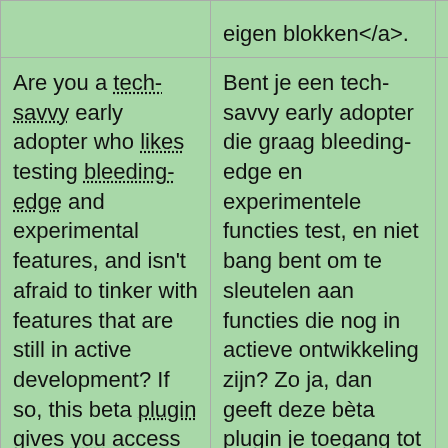| English | Dutch | Link |
| --- | --- | --- |
| eigen blokken</a>. |  |  |
| Are you a tech-savvy early adopter who likes testing bleeding-edge and experimental features, and isn't afraid to tinker with features that are still in active development? If so, this beta plugin gives you access to the latest Gutenberg features for block and full site editing, as well as a peek into what's to come. | Bent je een tech-savvy early adopter die graag bleeding-edge en experimentele functies test, en niet bang bent om te sleutelen aan functies die nog in actieve ontwikkeling zijn? Zo ja, dan geeft deze bèta plugin je toegang tot de nieuwste Gutenberg functies voor blok- en volledige site | Details |